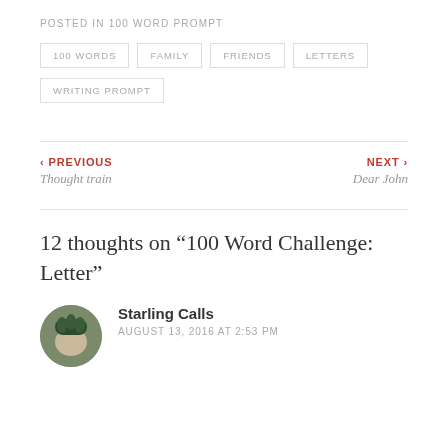POSTED IN 100 WORD PROMPT
100 WORDS
FAMILY
FRIENDS
LETTERS
WRITING PROMPT
‹ PREVIOUS
Thought train
NEXT ›
Dear John
12 thoughts on "100 Word Challenge: Letter"
Starling Calls
AUGUST 13, 2016 AT 2:53 PM